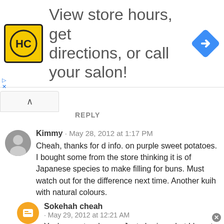[Figure (infographic): Ad banner with HC logo in yellow square, text 'View store hours, get directions, or call your salon!', and a blue diamond navigation arrow icon]
REPLY
Kimmy · May 28, 2012 at 1:17 PM
Cheah, thanks for d info. on purple sweet potatoes. I bought some from the store thinking it is of Japanese species to make filling for buns. Must watch out for the difference next time. Another kuih with natural colours.
Sokehah cheah · May 29, 2012 at 12:21 AM
You're most welcome. Just sharing what I learnt. That's the spirit of blogging!